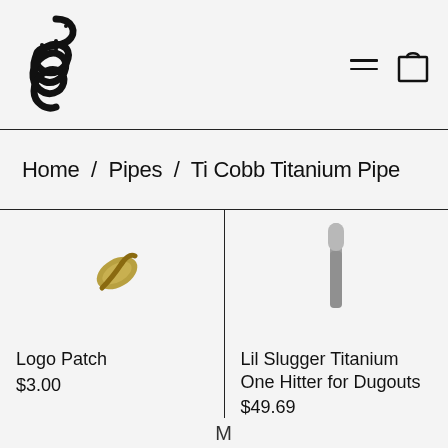[Figure (logo): Black snake logo icon in the top left of the page header]
[Figure (illustration): Hamburger menu icon (two horizontal lines) and shopping bag icon in top right header]
Home / Pipes / Ti Cobb Titanium Pipe
[Figure (photo): Top-down product image of a gold/brass Logo Patch item, partially visible]
[Figure (photo): Product image of a gray titanium one hitter pipe, partially visible, top portion only]
Logo Patch
$3.00
Lil Slugger Titanium One Hitter for Dugouts
$49.69